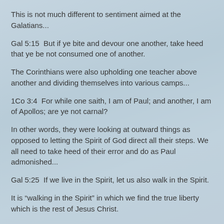This is not much different to sentiment aimed at the Galatians...
Gal 5:15  But if ye bite and devour one another, take heed that ye be not consumed one of another.
The Corinthians were also upholding one teacher above another and dividing themselves into various camps...
1Co 3:4  For while one saith, I am of Paul; and another, I am of Apollos; are ye not carnal?
In other words, they were looking at outward things as opposed to letting the Spirit of God direct all their steps. We all need to take heed of their error and do as Paul admonished...
Gal 5:25  If we live in the Spirit, let us also walk in the Spirit.
It is "walking in the Spirit" in which we find the true liberty which is the rest of Jesus Christ.